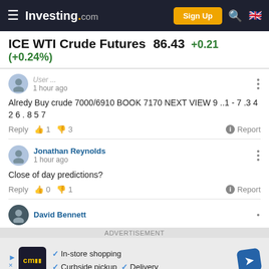Investing.com — Sign Up
ICE WTI Crude Futures 86.43 +0.21 (+0.24%)
Alredy Buy crude 7000/6910 BOOK 7170 NEXT VIEW 9 ..1 - 7 .3 4 2 6 . 8 5 7
Reply  👍 1  👎 3  Report
Jonathan Reynolds
1 hour ago
Close of day predictions?
Reply  👍 0  👎 1  Report
David Bennett
ADVERTISEMENT
✓ In-store shopping  ✓ Curbside pickup  ✓ Delivery